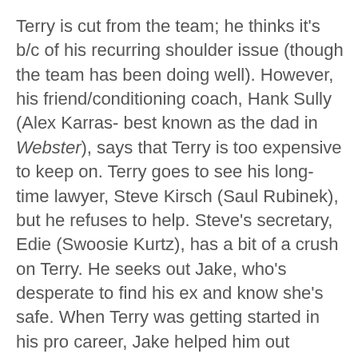Terry is cut from the team; he thinks it's b/c of his recurring shoulder issue (though the team has been doing well). However, his friend/conditioning coach, Hank Sully (Alex Karras- best known as the dad in Webster), says that Terry is too expensive to keep on. Terry goes to see his long-time lawyer, Steve Kirsch (Saul Rubinek), but he refuses to help. Steve's secretary, Edie (Swoosie Kurtz), has a bit of a crush on Terry. He seeks out Jake, who's desperate to find his ex and know she's safe. When Terry was getting started in his pro career, Jake helped him out (watch too see exactly what happened). Though they share a past, there is (underlying) tension between the two men's interactions. Early in the film, they have a car race which is V tense/potentially dangerous. Jake's black Ferrari 308 and Terry's red Porsche were specially modified for high-speed driving w/ special